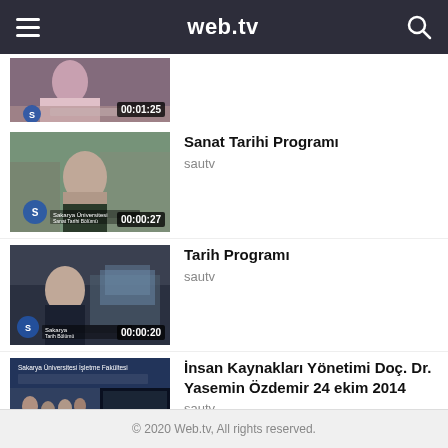web.tv
[Figure (screenshot): Partial video thumbnail showing a person, duration 00:01:25]
[Figure (screenshot): Video thumbnail for Sanat Tarihi Programi showing a woman outdoors with Sakarya Universitesi logo, duration 00:00:27]
Sanat Tarihi Programı
sautv
[Figure (screenshot): Video thumbnail for Tarih Programi showing a woman indoors, duration 00:00:20]
Tarih Programı
sautv
[Figure (screenshot): Video thumbnail for İnsan Kaynakları Yönetimi lecture, Sakarya Universitesi İşletme Fakültesi, duration 01:09:00]
İnsan Kaynakları Yönetimi Doç. Dr. Yasemin Özdemir 24 ekim 2014
sautv
© 2020 Web.tv, All rights reserved.